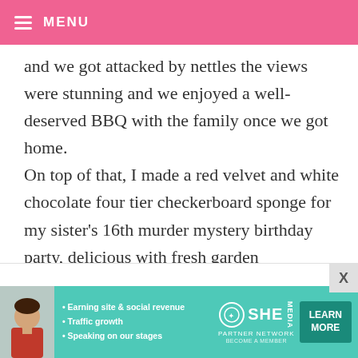MENU
and we got attacked by nettles the views were stunning and we enjoyed a well-deserved BBQ with the family once we got home. On top of that, I made a red velvet and white chocolate four tier checkerboard sponge for my sister's 16th murder mystery birthday party, delicious with fresh garden raspberries!
[Figure (infographic): SHE Partner Network advertisement banner with photo of woman, bullet points: Earning site & social revenue, Traffic growth, Speaking on our stages. Includes SHE logo, PARTNER NETWORK text, BECOME A MEMBER text, and LEARN MORE button.]